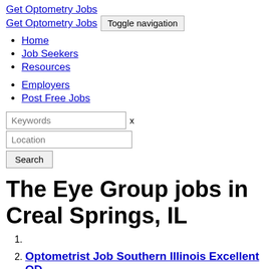Get Optometry Jobs
Get Optometry Jobs  Toggle navigation
Home
Job Seekers
Resources
Employers
Post Free Jobs
Keywords  x
Location
Search
The Eye Group jobs in Creal Springs, IL
1.
2. Optometrist Job Southern Illinois Excellent OD...